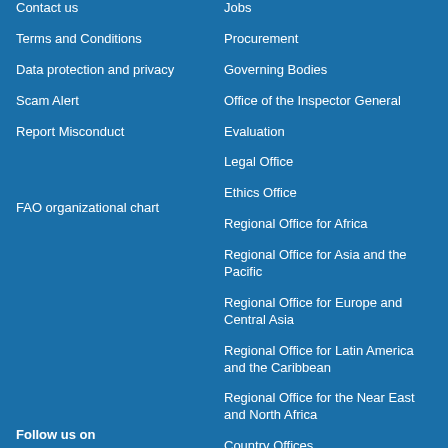Contact us
Terms and Conditions
Data protection and privacy
Scam Alert
Report Misconduct
FAO organizational chart
Follow us on
Jobs
Procurement
Governing Bodies
Office of the Inspector General
Evaluation
Legal Office
Ethics Office
Regional Office for Africa
Regional Office for Asia and the Pacific
Regional Office for Europe and Central Asia
Regional Office for Latin America and the Caribbean
Regional Office for the Near East and North Africa
Country Offices